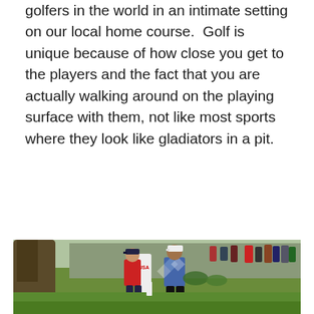golfers in the world in an intimate setting on our local home course.  Golf is unique because of how close you get to the players and the fact that you are actually walking around on the playing surface with them, not like most sports where they look like gladiators in a pit.
[Figure (photo): A golfer wearing a blue and white argyle sweater walks on a golf course fairway, accompanied by a caddie in red shirt and navy shorts carrying a golf bag. Spectators and trees are visible in the background.]